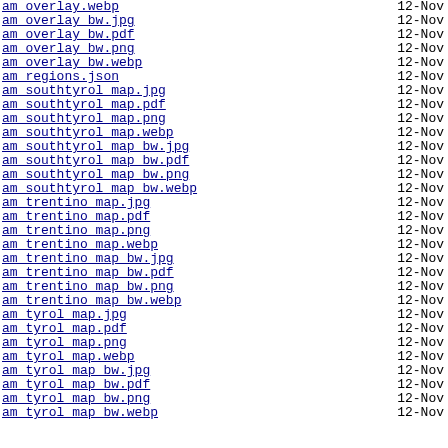am_overlay.webp   12-Nov
am_overlay_bw.jpg   12-Nov
am_overlay_bw.pdf   12-Nov
am_overlay_bw.png   12-Nov
am_overlay_bw.webp   12-Nov
am_regions.json   12-Nov
am_southtyrol_map.jpg   12-Nov
am_southtyrol_map.pdf   12-Nov
am_southtyrol_map.png   12-Nov
am_southtyrol_map.webp   12-Nov
am_southtyrol_map_bw.jpg   12-Nov
am_southtyrol_map_bw.pdf   12-Nov
am_southtyrol_map_bw.png   12-Nov
am_southtyrol_map_bw.webp   12-Nov
am_trentino_map.jpg   12-Nov
am_trentino_map.pdf   12-Nov
am_trentino_map.png   12-Nov
am_trentino_map.webp   12-Nov
am_trentino_map_bw.jpg   12-Nov
am_trentino_map_bw.pdf   12-Nov
am_trentino_map_bw.png   12-Nov
am_trentino_map_bw.webp   12-Nov
am_tyrol_map.jpg   12-Nov
am_tyrol_map.pdf   12-Nov
am_tyrol_map.png   12-Nov
am_tyrol_map.webp   12-Nov
am_tyrol_map_bw.jpg   12-Nov
am_tyrol_map_bw.pdf   12-Nov
am_tyrol_map_bw.png   12-Nov
am_tyrol_map_bw.webp   12-Nov